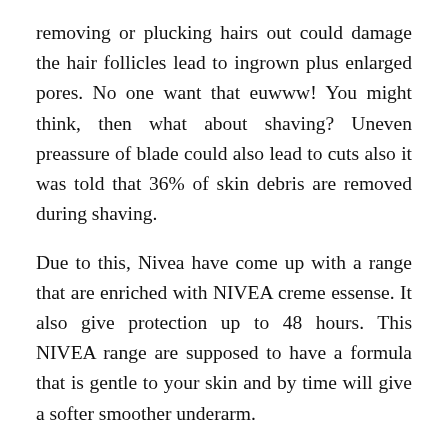removing or plucking hairs out could damage the hair follicles lead to ingrown plus enlarged pores. No one want that euwww! You might think, then what about shaving? Uneven preassure of blade could also lead to cuts also it was told that 36% of skin debris are removed during shaving.
Due to this, Nivea have come up with a range that are enriched with NIVEA creme essense. It also give protection up to 48 hours. This NIVEA range are supposed to have a formula that is gentle to your skin and by time will give a softer smoother underarm.
It comes in two options. The traditional roll-on priced at RM11.30 for 50ml and also the spray bottle retailing at RM 17.50 for 150ml. I would